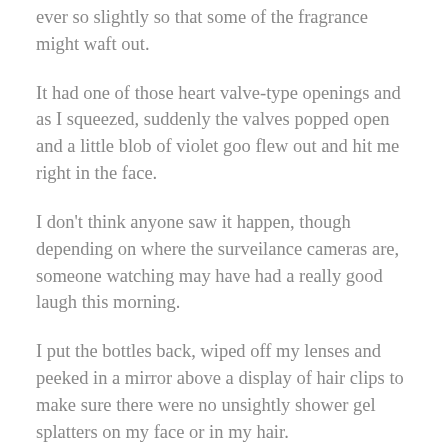ever so slightly so that some of the fragrance might waft out.
It had one of those heart valve-type openings and as I squeezed, suddenly the valves popped open and a little blob of violet goo flew out and hit me right in the face.
I don't think anyone saw it happen, though depending on where the surveilance cameras are, someone watching may have had a really good laugh this morning.
I put the bottles back, wiped off my lenses and peeked in a mirror above a display of hair clips to make sure there were no unsightly shower gel splatters on my face or in my hair.
Then I casually strolled to the dairy case to get my butter.